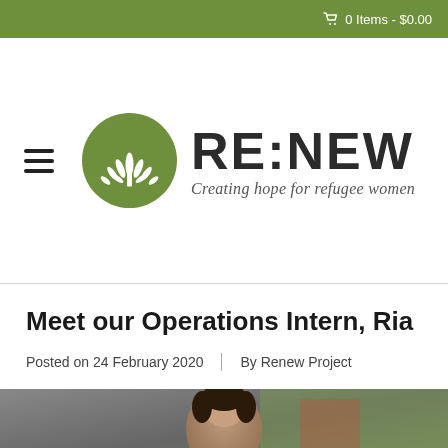0 Items - $0.00
[Figure (logo): RE:NEW logo — green circle with stylized white tree/fountain, wordmark RE:NEW, tagline 'Creating hope for refugee women']
Meet our Operations Intern, Ria
Posted on 24 February 2020 | By Renew Project
[Figure (photo): Photograph of a person, partially visible at the bottom of the page]